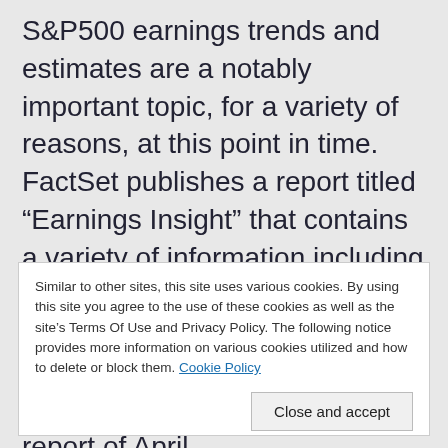S&P500 earnings trends and estimates are a notably important topic, for a variety of reasons, at this point in time. FactSet publishes a report titled “Earnings Insight” that contains a variety of information including the trends and expectations of S&P500 earnings. For reference purposes, here are two charts as seen in the “Earnings Insight” report of April ...
Similar to other sites, this site uses various cookies. By using this site you agree to the use of these cookies as well as the site’s Terms Of Use and Privacy Policy. The following notice provides more information on various cookies utilized and how to delete or block them. Cookie Policy
Close and accept